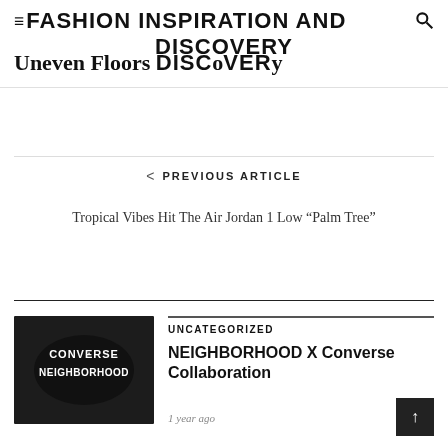FASHION INSPIRATION AND DISCOVERY
Uneven Floors Discover
< PREVIOUS ARTICLE
Tropical Vibes Hit The Air Jordan 1 Low “Palm Tree”
UNCATEGORIZED
NEIGHBORHOOD X Converse Collaboration
1 year ago
[Figure (photo): Black Converse and Neighborhood branded shoe close-up showing Converse and Neighborhood text logos in white on dark leather.]